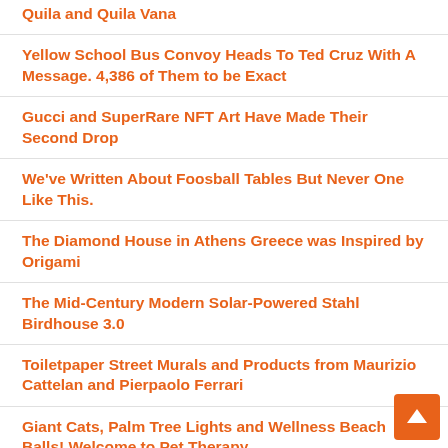Quila and Quila Vana
Yellow School Bus Convoy Heads To Ted Cruz With A Message. 4,386 of Them to be Exact
Gucci and SuperRare NFT Art Have Made Their Second Drop
We've Written About Foosball Tables But Never One Like This.
The Diamond House in Athens Greece was Inspired by Origami
The Mid-Century Modern Solar-Powered Stahl Birdhouse 3.0
Toiletpaper Street Murals and Products from Maurizio Cattelan and Pierpaolo Ferrari
Giant Cats, Palm Tree Lights and Wellness Beach Balls! Welcome to Pet Therapy.
Elizaveta Porodina's photos of Brad Pitt for GQ are Terrifically Trippy.